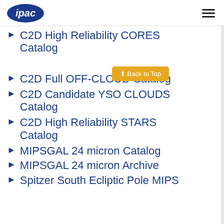ipac
C2D High Reliability CORES Catalog
C2D Full OFF-CLOUD Catalog
C2D Candidate YSO CLOUDS Catalog
C2D High Reliability STARS Catalog
MIPSGAL 24 micron Catalog
MIPSGAL 24 micron Archive
Spitzer South Ecliptic Pole MIPS